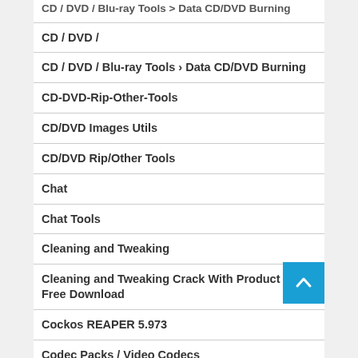CD / DVD /
CD / DVD / Blu-ray Tools › Data CD/DVD Burning
CD-DVD-Rip-Other-Tools
CD/DVD Images Utils
CD/DVD Rip/Other Tools
Chat
Chat Tools
Cleaning and Tweaking
Cleaning and Tweaking Crack With Product Key Free Download
Cockos REAPER 5.973
Codec Packs / Video Codecs